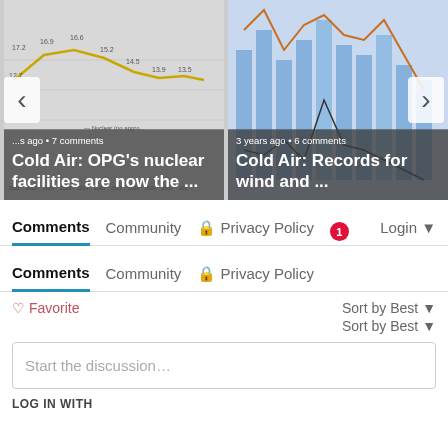[Figure (screenshot): Carousel card 1: line chart background with title 'Cold Air: OPG's nuclear facilities are now the ...' and meta '...s ago • 7 comments']
[Figure (screenshot): Carousel card 2: bar+line chart background with title 'Cold Air: Records for wind and ...' and meta '3 years ago • 6 comments']
Comments  Community  🔒 Privacy Policy  1  Login
Comments  Community  🔒 Privacy Policy
♡ Favorite
Sort by Best
Sort by Best
Start the discussion…
LOG IN WITH